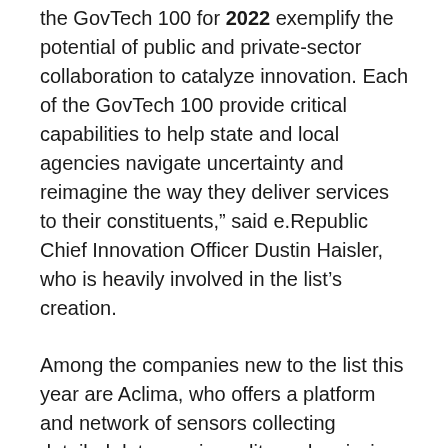the GovTech 100 for 2022 exemplify the potential of public and private-sector collaboration to catalyze innovation. Each of the GovTech 100 provide critical capabilities to help state and local agencies navigate uncertainty and reimagine the way they deliver services to their constituents,” said e.Republic Chief Innovation Officer Dustin Haisler, who is heavily involved in the list’s creation.
Among the companies new to the list this year are Aclima, who offers a platform and network of sensors collecting detailed data on air quality and emissions at hyperlocal levels, and Government Brands, whose cloud-based contactless payment services for government process more than 27 million payments